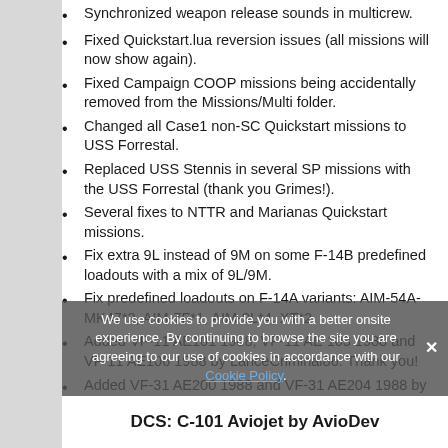Synchronized weapon release sounds in multicrew.
Fixed Quickstart.lua reversion issues (all missions will now show again).
Fixed Campaign COOP missions being accidentally removed from the Missions/Multi folder.
Changed all Case1 non-SC Quickstart missions to USS Forrestal.
Replaced USS Stennis in several SP missions with the USS Forrestal (thank you Grimes!).
Several fixes to NTTR and Marianas Quickstart missions.
Fix extra 9L instead of 9M on some F-14B predefined loadouts with a mix of 9L/9M.
Fix predefined loadouts on F-14A variants: AIM-54A-MK47*2, AIM-7F*1, AIM-9L*4, XT*2.
Added VF-11 AE101 1988, VF-11 AE 103 1988 and VF-11 AE106 1988 by LanceCriminal86. Thank you!
Added VF-31 AE200 1988 and VF-31 AE204 1988 by LanceCriminal86 and Shmoo42. Thank you!
We use cookies to provide you with a better onsite experience. By continuing to browse the site you are agreeing to our use of cookies in accordance with our Cookie Policy.
DCS: C-101 Aviojet by AvioDev